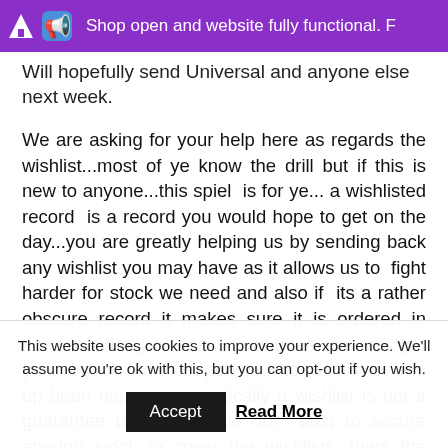Shop open and website fully functional. F
Will hopefully send Universal and anyone else next week.
We are asking for your help here as regards the wishlist...most of ye know the drill but if this is new to anyone...this spiel is for ye... a wishlisted record is a record you would hope to get on the day...you are greatly helping us by sending back any wishlist you may have as it allows us to fight harder for stock we need and also if its a rather obscure record it makes sure it is ordered in ...unfortunately we cant guarantee you will get your record but most people who wishlist us end up been happy ....so critically a wishlist is not a guarantee but we will do our best to secure enough stock to cover the wishlists...thats the hope anyway!
I need wishlists back by close of play weds the 8th of March, that is
This website uses cookies to improve your experience. We'll assume you're ok with this, but you can opt-out if you wish.